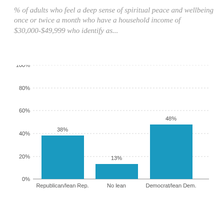% of adults who feel a deep sense of spiritual peace and wellbeing once or twice a month who have a household income of $30,000-$49,999 who identify as...
[Figure (bar-chart): ]